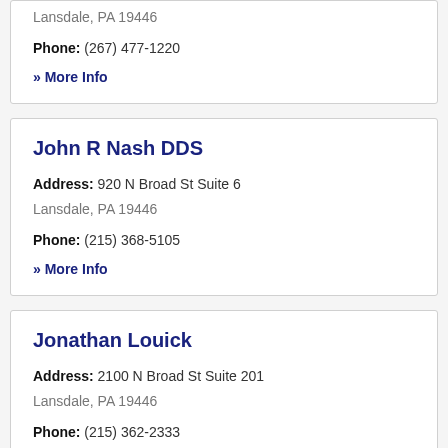Lansdale, PA 19446
Phone: (267) 477-1220
» More Info
John R Nash DDS
Address: 920 N Broad St Suite 6
Lansdale, PA 19446
Phone: (215) 368-5105
» More Info
Jonathan Louick
Address: 2100 N Broad St Suite 201
Lansdale, PA 19446
Phone: (215) 362-2333